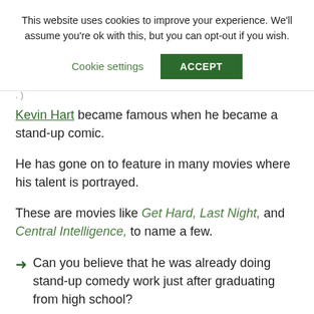This website uses cookies to improve your experience. We'll assume you're ok with this, but you can opt-out if you wish.
Cookie settings | ACCEPT
Kevin Hart became famous when he became a stand-up comic.
He has gone on to feature in many movies where his talent is portrayed.
These are movies like Get Hard, Last Night, and Central Intelligence, to name a few.
Can you believe that he was already doing stand-up comedy work just after graduating from high school?